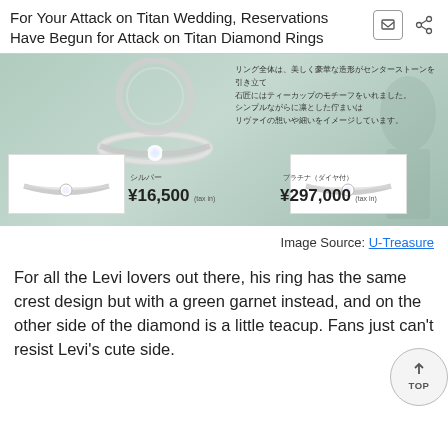For Your Attack on Titan Wedding, Reservations Have Begun for Attack on Titan Diamond Rings
[Figure (photo): Product image showing Attack on Titan diamond rings. Large engagement ring displayed at top center on teal/green background. Japanese text description at top right. Bottom row shows two small product photos: silver ring (シルバー) priced at ¥16,500 (tax in) and platinum with diamond ring (プラチナ（ダイヤ付）) priced at ¥297,000 (tax in).]
Image Source: U-Treasure
For all the Levi lovers out there, his ring has the same crest design but with a green garnet instead, and on the other side of the diamond is a little teacup. Fans just can't resist Levi's cute side.